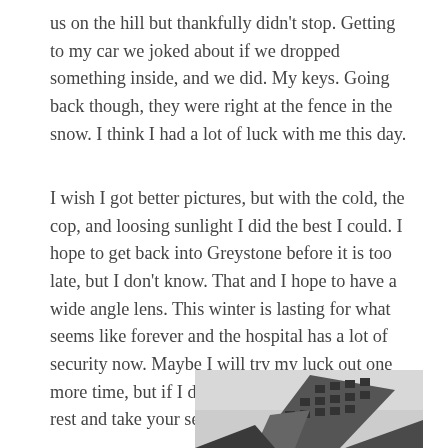us on the hill but thankfully didn't stop.  Getting to my car we joked about if we dropped something inside, and we did.  My keys.  Going back though, they were right at the fence in the snow.  I think I had a lot of luck with me this day.
I wish I got better pictures, but with the cold, the cop, and loosing sunlight I did the best I could.  I hope to get back into Greystone before it is too late, but I don't know.  That and I hope to have a wide angle lens.  This winter is lasting for what seems like forever and the hospital has a lot of security now.  Maybe I will try my luck out one more time, but if I don't, Greystone, may you rest and take your secrets with you.
[Figure (photo): Black and white photograph of a building shot at a dramatic upward angle, showing windows and architectural details of what appears to be an old institutional building (Greystone hospital), taken from below looking up.]